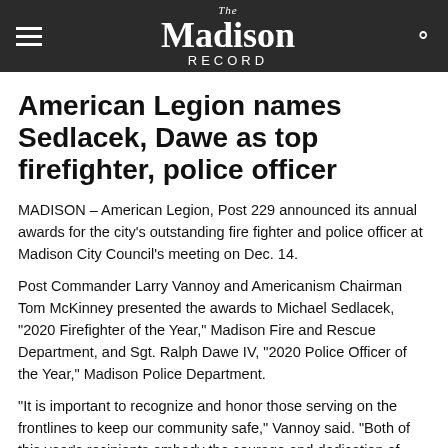The Madison Record
American Legion names Sedlacek, Dawe as top firefighter, police officer
MADISON – American Legion, Post 229 announced its annual awards for the city's outstanding fire fighter and police officer at Madison City Council's meeting on Dec. 14.
Post Commander Larry Vannoy and Americanism Chairman Tom McKinney presented the awards to Michael Sedlacek, "2020 Firefighter of the Year," Madison Fire and Rescue Department, and Sgt. Ralph Dawe IV, "2020 Police Officer of the Year," Madison Police Department.
"It is important to recognize and honor those serving on the frontlines to keep our community safe," Vannoy said. "Both of this year's recipients embody the courage and dedication of their profession and are great representatives of their departments."
Sedlacek has worked with the department for 12 years as a firefighter, paramedic, driver/engineer and Captain of Community Risk Reduction Division for the past three years and he and his wife...